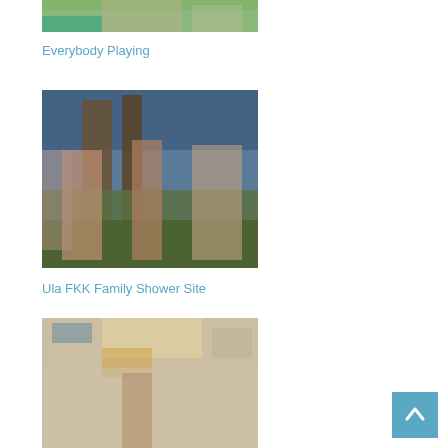[Figure (photo): Partial photo at top, cropped nudist/naturist scene outdoors]
Everybody Playing
[Figure (photo): Outdoor naturist/FKK photo showing several people among trees]
Ula FKK Family Shower Site
[Figure (photo): Beach scene with person on sandy beach, towels and sandals visible]